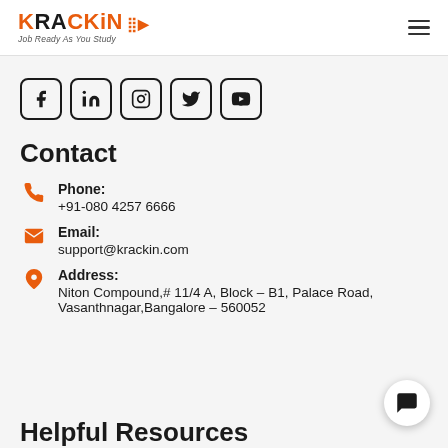KRACKiN — Job Ready As You Study
[Figure (other): Social media icons row: Facebook, LinkedIn, Instagram, Twitter, YouTube — each in a rounded square border]
Contact
Phone: +91-080 4257 6666
Email: support@krackin.com
Address: Niton Compound,# 11/4 A, Block – B1, Palace Road, Vasanthnagar,Bangalore – 560052
Helpful Resources